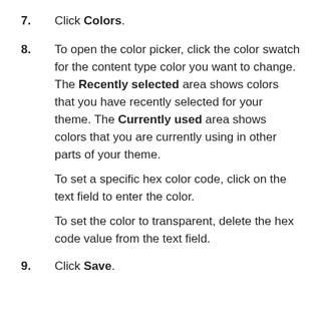7. Click Colors.
8. To open the color picker, click the color swatch for the content type color you want to change. The Recently selected area shows colors that you have recently selected for your theme. The Currently used area shows colors that you are currently using in other parts of your theme.

To set a specific hex color code, click on the text field to enter the color.

To set the color to transparent, delete the hex code value from the text field.
9. Click Save.